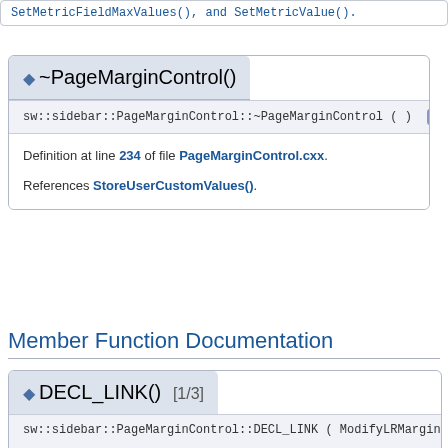SetMetricFieldMaxValues(); and SetMetricValue().
~PageMarginControl()
sw::sidebar::PageMarginControl::~PageMarginControl ( )  override
Definition at line 234 of file PageMarginControl.cxx.
References StoreUserCustomValues().
Member Function Documentation
DECL_LINK() [1/3]
sw::sidebar::PageMarginControl::DECL_LINK ( ModifyLRMarginHdl
weld::MetricSpinButt